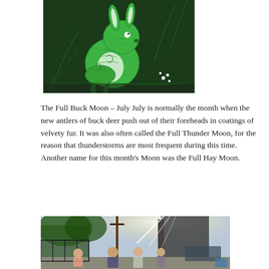[Figure (illustration): Colorful illustration of a green rabbit/hare surrounded by fern leaves on a dark background, done in a linocut/woodblock print style.]
The Full Buck Moon – July July is normally the month when the new antlers of buck deer push out of their foreheads in coatings of velvety fur. It was also often called the Full Thunder Moon, for the reason that thunderstorms are most frequent during this time. Another name for this month's Moon was the Full Hay Moon.
[Figure (photo): Outdoor photograph showing several people standing near a fence with trees and utility poles in the background on a sunny day.]